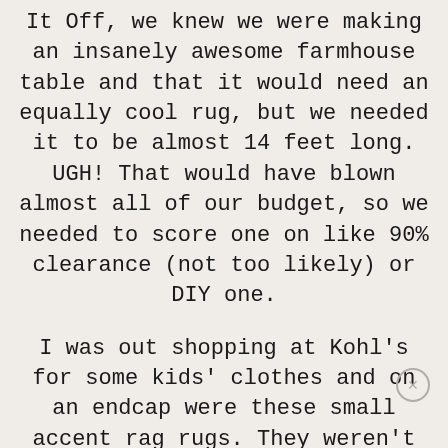It Off, we knew we were making an insanely awesome farmhouse table and that it would need an equally cool rug, but we needed it to be almost 14 feet long. UGH! That would have blown almost all of our budget, so we needed to score one on like 90% clearance (not too likely) or DIY one.
I was out shopping at Kohl's for some kids' clothes and on an endcap were these small accent rag rugs. They weren't close to the size we needed, but all the color drew me in and made me take a closer look. I checked out the tag